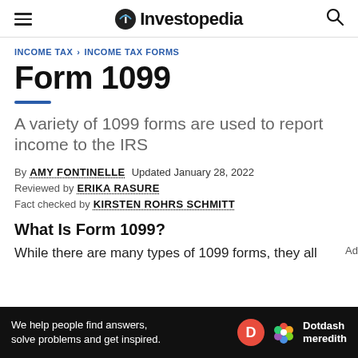Investopedia
INCOME TAX > INCOME TAX FORMS
Form 1099
A variety of 1099 forms are used to report income to the IRS
By AMY FONTINELLE Updated January 28, 2022
Reviewed by ERIKA RASURE
Fact checked by KIRSTEN ROHRS SCHMITT
What Is Form 1099?
While there are many types of 1099 forms, they all
[Figure (other): Dotdash Meredith advertisement banner: 'We help people find answers, solve problems and get inspired.']